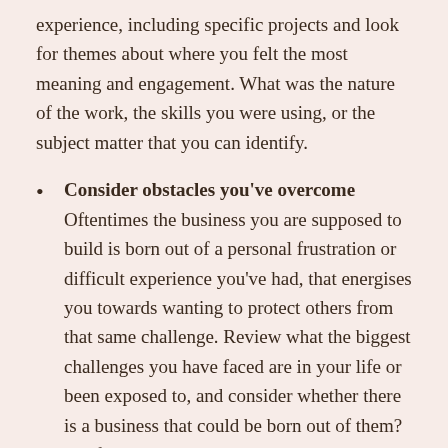experience, including specific projects and look for themes about where you felt the most meaning and engagement. What was the nature of the work, the skills you were using, or the subject matter that you can identify.
Consider obstacles you've overcome Oftentimes the business you are supposed to build is born out of a personal frustration or difficult experience you've had, that energises you towards wanting to protect others from that same challenge. Review what the biggest challenges you have faced are in your life or been exposed to, and consider whether there is a business that could be born out of them? My friend is starting a coaching business about boundary setting because, you guessed it, she has had issues with her own personal